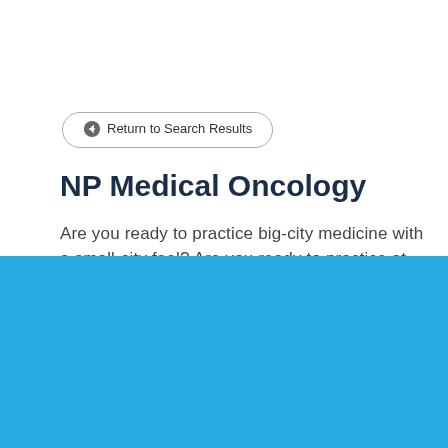Return to Search Results
NP Medical Oncology
Are you ready to practice big-city medicine with a small-city feel? Are you ready to practice at the top of your
Cookie Settings
Got it
We use cookies so that we can remember you and understand how you use our site. If you do not agree with our use of cookies, please change the current settings found in our Cookie Policy. Otherwise, you agree to the use of the cookies as they are currently set.